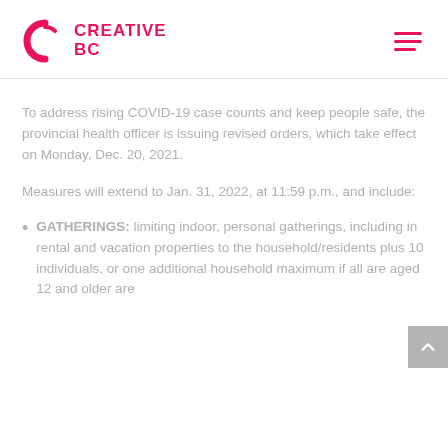[Figure (logo): Creative BC logo with pink C icon and CREATIVE BC text in pink]
To address rising COVID-19 case counts and keep people safe, the provincial health officer is issuing revised orders, which take effect on Monday, Dec. 20, 2021.
Measures will extend to Jan. 31, 2022, at 11:59 p.m., and include:
GATHERINGS: limiting indoor, personal gatherings, including in rental and vacation properties to the household/residents plus 10 individuals, or one additional household maximum if all are aged 12 and older are